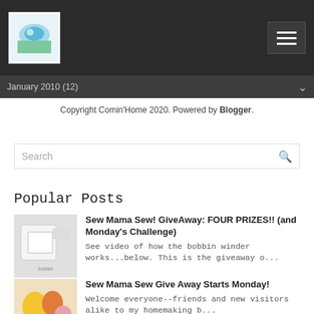January 2010 (12)
Copyright Comin'Home 2020. Powered by Blogger.
Search
Popular Posts
Sew Mama Sew! GiveAway: FOUR PRIZES!! (and Monday's Challenge)
See video of how the bobbin winder works...below. This is the giveaway o...
Sew Mama Sew Give Away Starts Monday!
Welcome everyone--friends and new visitors alike to my homemaking b...